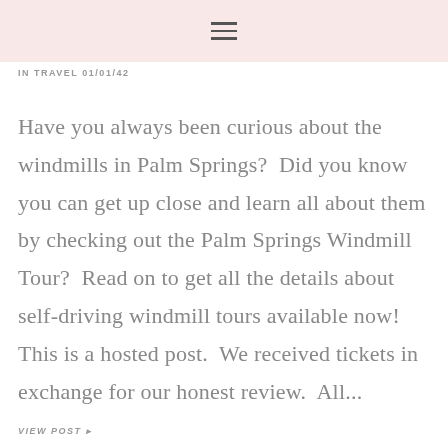≡
IN TRAVEL 01/01/42
Have you always been curious about the windmills in Palm Springs?  Did you know you can get up close and learn all about them by checking out the Palm Springs Windmill Tour?  Read on to get all the details about self-driving windmill tours available now! This is a hosted post.  We received tickets in exchange for our honest review.  All...
VIEW POST ▸